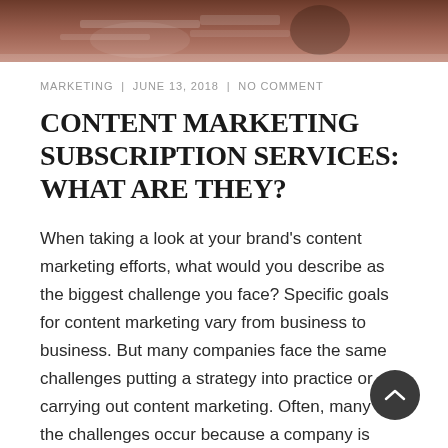[Figure (photo): Cropped top portion of a photo showing hands working on documents/papers on a desk, with a dark reddish-brown toned background.]
MARKETING  |  JUNE 13, 2018  |  NO COMMENT
CONTENT MARKETING SUBSCRIPTION SERVICES: WHAT ARE THEY?
When taking a look at your brand's content marketing efforts, what would you describe as the biggest challenge you face? Specific goals for content marketing vary from business to business. But many companies face the same challenges putting a strategy into practice or carrying out content marketing. Often, many of the challenges occur because a company is trying to go it alone. Really the best option is to get outside help. Enter content marketing...